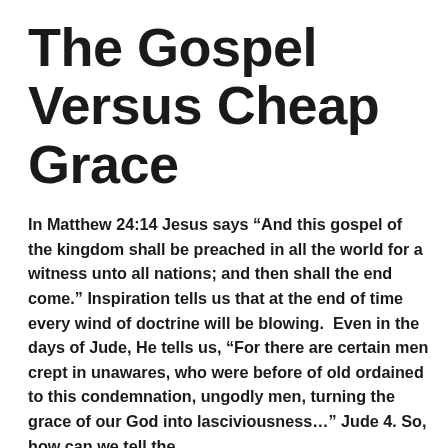The Gospel Versus Cheap Grace
In Matthew 24:14 Jesus says “And this gospel of the kingdom shall be preached in all the world for a witness unto all nations; and then shall the end come.” Inspiration tells us that at the end of time every wind of doctrine will be blowing.  Even in the days of Jude, He tells us, “For there are certain men crept in unawares, who were before of old ordained to this condemnation, ungodly men, turning the grace of our God into lasciviousness…” Jude 4. So, how can we tell the